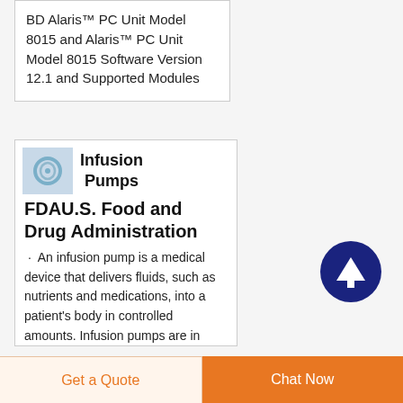BD Alaris™ PC Unit Model 8015 and Alaris™ PC Unit Model 8015 Software Version 12.1 and Supported Modules
[Figure (photo): Small thumbnail image of infusion pump tubing/connector]
Infusion Pumps
FDAU.S. Food and Drug Administration
An infusion pump is a medical device that delivers fluids, such as nutrients and medications, into a patient's body in controlled amounts. Infusion pumps are in
[Figure (other): Dark navy circular scroll-to-top arrow button]
Get a Quote
Chat Now